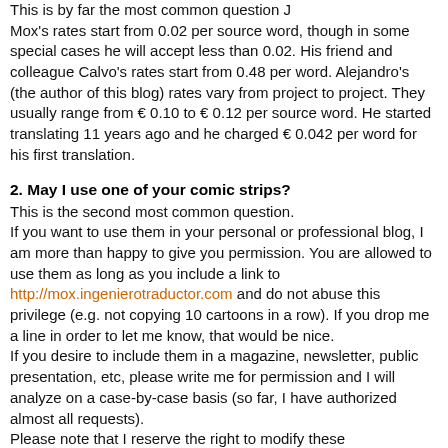This is by far the most common question J Mox's rates start from 0.02 per source word, though in some special cases he will accept less than 0.02. His friend and colleague Calvo's rates start from 0.48 per word. Alejandro's (the author of this blog) rates vary from project to project. They usually range from € 0.10 to € 0.12 per source word. He started translating 11 years ago and he charged € 0.042 per word for his first translation.
2. May I use one of your comic strips?
This is the second most common question. If you want to use them in your personal or professional blog, I am more than happy to give you permission. You are allowed to use them as long as you include a link to http://mox.ingenierotraductor.com and do not abuse this privilege (e.g. not copying 10 cartoons in a row). If you drop me a line in order to let me know, that would be nice. If you desire to include them in a magazine, newsletter, public presentation, etc, please write me for permission and I will analyze on a case-by-case basis (so far, I have authorized almost all requests). Please note that I reserve the right to modify these